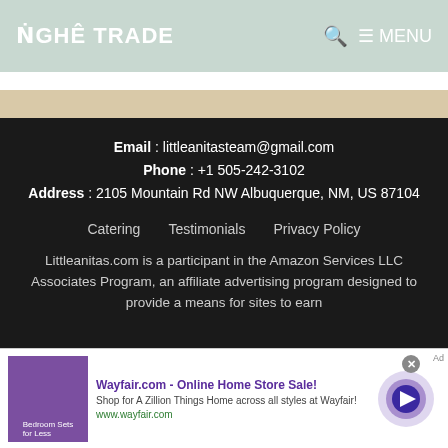NGHÊ TRADE — MENU
Email : littleanitasteam@gmail.com
Phone : +1 505-242-3102
Address : 2105 Mountain Rd NW Albuquerque, NM, US 87104
Catering
Testimonials
Privacy Policy
Littleanitas.com is a participant in the Amazon Services LLC Associates Program, an affiliate advertising program designed to provide a means for sites to earn
[Figure (screenshot): Wayfair.com advertisement banner: 'Wayfair.com - Online Home Store Sale! Shop for A Zillion Things Home across all styles at Wayfair! www.wayfair.com' with product image and play button arrow.]